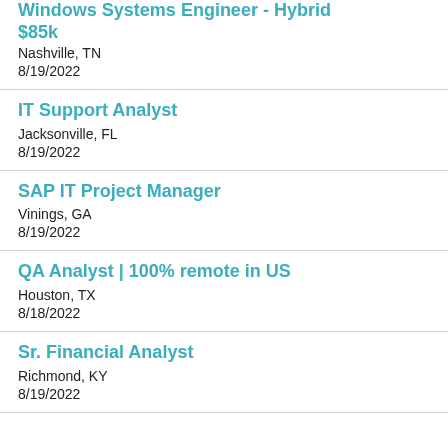Windows Systems Engineer - Hybrid $85k
Nashville, TN
8/19/2022
IT Support Analyst
Jacksonville, FL
8/19/2022
SAP IT Project Manager
Vinings, GA
8/19/2022
QA Analyst | 100% remote in US
Houston, TX
8/18/2022
Sr. Financial Analyst
Richmond, KY
8/19/2022